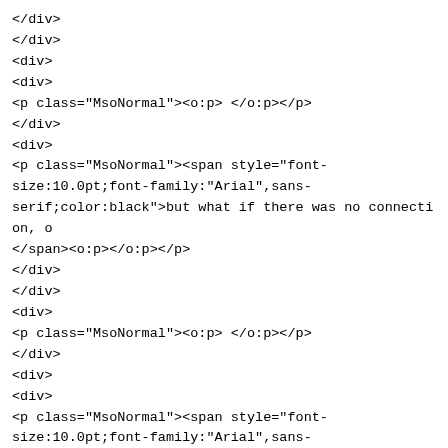</div>
</div>
<div>
<div>
<p class="MsoNormal"><o:p> </o:p></p>
</div>
<div>
<p class="MsoNormal"><span style="font-size:10.0pt;font-family:"Arial",sans-serif;color:black">but what if there was no connection, o</span><o:p></o:p></p>
</div>
</div>
<div>
<p class="MsoNormal"><o:p> </o:p></p>
</div>
<div>
<div>
<p class="MsoNormal"><span style="font-size:10.0pt;font-family:"Arial",sans-serif;color:black">I don't feel comfortable sending point
<o:p></o:p></span></p>
</div>
<div>
<p class="MsoNormal"><span style="font-size:10.0pt;font-family:"Arial",sans-serif;color:black">I guess there is no real solution, exc
<o:p></o:p></span></p>
</div>
<div>